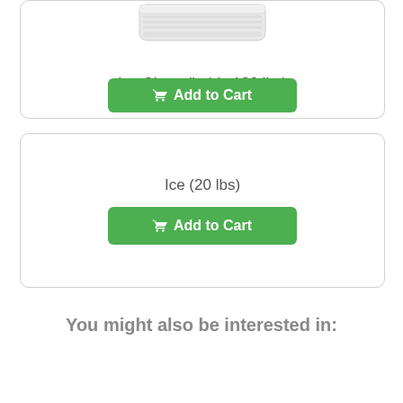[Figure (screenshot): Partial product card showing ice chest image (white cooler) cropped at top of page]
Ice Chest (holds 120 lbs)
Add to Cart
Ice (20 lbs)
Add to Cart
You might also be interested in: